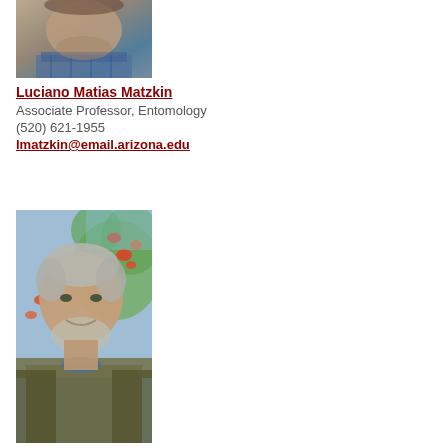[Figure (photo): Close-up photo of Luciano Matias Matzkin, a man wearing a plaid shirt, partial face visible]
Luciano Matias Matzkin
Associate Professor, Entomology
(520) 621-1955
lmatzkin@email.arizona.edu
[Figure (photo): Photo of Dominic V Mcgrath, a middle-aged man with gray hair and beard, smiling, outdoors with colorful flowers in background]
Dominic V Mcgrath
Professor, Chemistry and Biochemistry; Sci